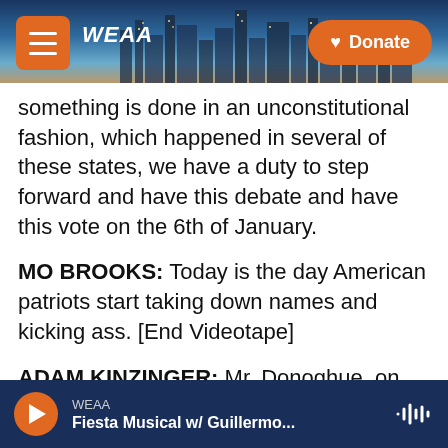WEAA | Donate
something is done in an unconstitutional fashion, which happened in several of these states, we have a duty to step forward and have this debate and have this vote on the 6th of January.
MO BROOKS: Today is the day American patriots start taking down names and kicking ass. [End Videotape]
ADAM KINZINGER: Mr. Donoghue, on December 27th you had a 90 minute conversation with the President where he raised false claim after false claim with you and Mr. Rosen. How did you respond to what you called a quote, "Stream of allegations?"
WEAA — Fiesta Musical w/ Guillermo...